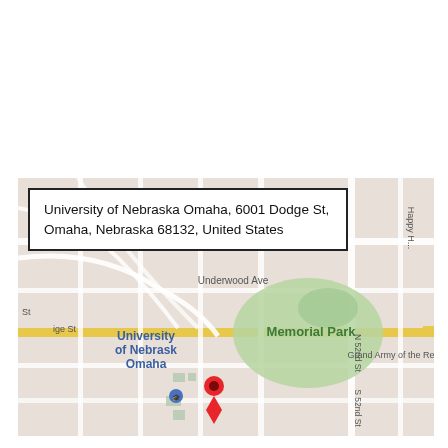[Figure (map): Google Maps screenshot showing the location of University of Nebraska Omaha, 6001 Dodge St, Omaha, Nebraska 68132, United States. Map shows surrounding streets including Western Ave, Underwood Ave, N 52nd St, S 52nd St, and landmarks including Memorial Park and Grand Army of the Republic. A red location pin marks the university campus. A secondary blue pin marks another campus building. The map tiles show a typical Google Maps street view with roads, green park areas, and residential blocks.]
University of Nebraska Omaha, 6001 Dodge St, Omaha, Nebraska 68132, United States